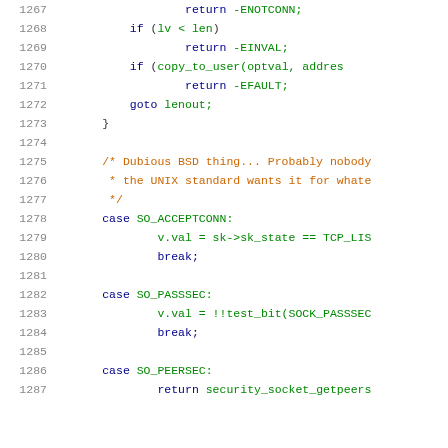[Figure (screenshot): Source code listing showing lines 1267-1287 of a C kernel socket file. Contains return statements, if conditions, goto, case statements for SO_ACCEPTCONN, SO_PASSSEC, SO_PEERSEC, with syntax highlighting in blue, green, and orange.]